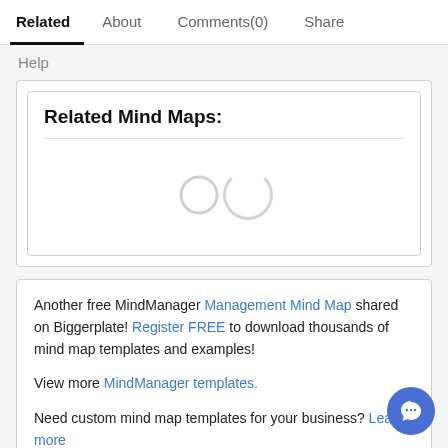Related | About | Comments (0) | Share
Help
Related Mind Maps:
[Figure (other): Loading spinner (circular arc indicator)]
Another free MindManager Management Mind Map shared on Biggerplate! Register FREE to download thousands of mind map templates and examples!

View more MindManager templates.

Need custom mind map templates for your business? Learn more